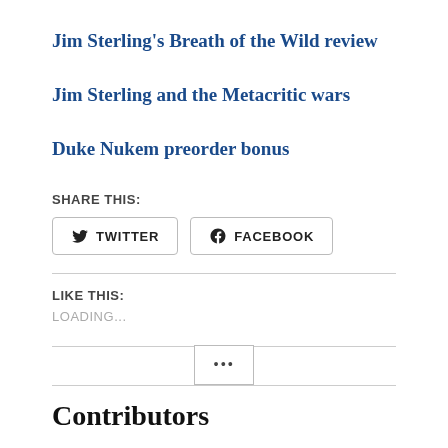Jim Sterling's Breath of the Wild review
Jim Sterling and the Metacritic wars
Duke Nukem preorder bonus
SHARE THIS:
TWITTER
FACEBOOK
LIKE THIS:
LOADING...
Contributors